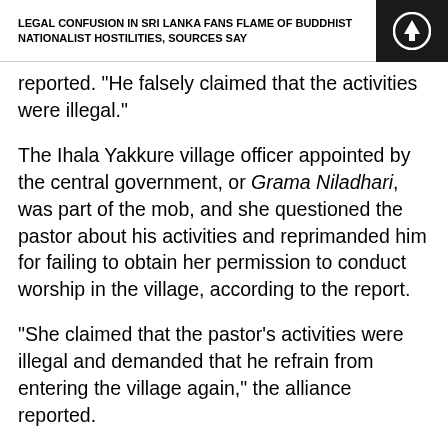LEGAL CONFUSION IN SRI LANKA FANS FLAME OF BUDDHIST NATIONALIST HOSTILITIES, SOURCES SAY
reported. "He falsely claimed that the activities were illegal."
The Ihala Yakkure village officer appointed by the central government, or Grama Niladhari, was part of the mob, and she questioned the pastor about his activities and reprimanded him for failing to obtain her permission to conduct worship in the village, according to the report.
“She claimed that the pastor’s activities were illegal and demanded that he refrain from entering the village again,” the alliance reported.
The pastor made a statement at the Siripura police station at around 12:30 p.m.
“The OIC reiterated his demand that the pastor